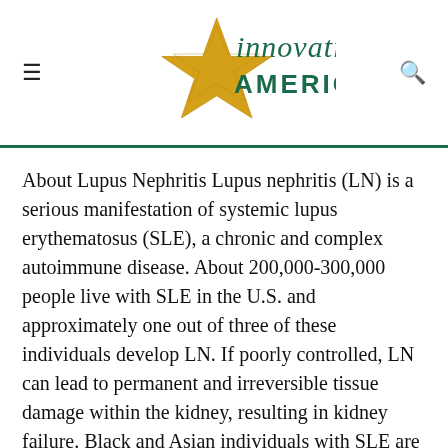Innovation America
About Lupus Nephritis Lupus nephritis (LN) is a serious manifestation of systemic lupus erythematosus (SLE), a chronic and complex autoimmune disease. About 200,000-300,000 people live with SLE in the U.S. and approximately one out of three of these individuals develop LN. If poorly controlled, LN can lead to permanent and irreversible tissue damage within the kidney, resulting in kidney failure. Black and Asian individuals with SLE are four times more likely to develop LN and individuals of Hispanic ancestry are approximately twice as likely to develop the disease